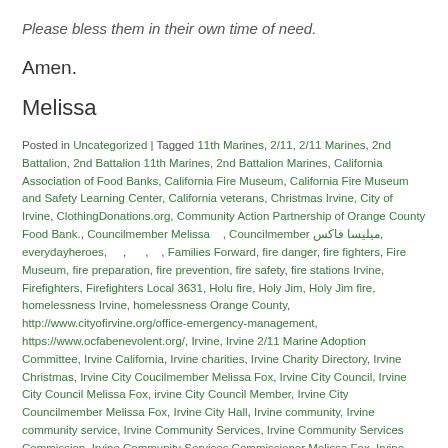Please bless them in their own time of need.
Amen.
Melissa
Posted in Uncategorized | Tagged 11th Marines, 2/11, 2/11 Marines, 2nd Battalion, 2nd Battalion 11th Marines, 2nd Battalion Marines, California Association of Food Banks, California Fire Museum, California Fire Museum and Safety Learning Center, California veterans, Christmas Irvine, City of Irvine, ClothingDonations.org, Community Action Partnership of Orange County Food Bank., Councilmember Melissa, Councilmember ميليسا فاكس, everydayheroes, Families Forward, fire danger, fire fighters, Fire Museum, fire preparation, fire prevention, fire safety, fire stations Irvine, Firefighters, Firefighters Local 3631, Holu fire, Holy Jim, Holy Jim fire, homelessness Irvine, homelessness Orange County, http://www.cityofirvine.org/office-emergency-management, https://www.ocfabenevolent.org/, Irvine, Irvine 2/11 Marine Adoption Committee, Irvine California, Irvine charities, Irvine Charity Directory, Irvine Christmas, Irvine City Coucilmember Melissa Fox, Irvine City Council, Irvine City Council Melissa Fox, irvine City Council Member, Irvine City Councilmember Melissa Fox, Irvine City Hall, Irvine community, Irvine community service, Irvine Community Services, Irvine Community Services Commission, Irvine Community Services Commissioner Melissa Fox, Irvine